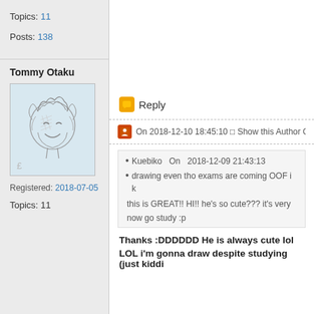Topics: 11
Posts: 138
Tommy Otaku
[Figure (illustration): Hand-drawn anime-style sketch of a smiling character with a crown/hair accessory, looking happy, pencil sketch style on light blue background]
Registered: 2018-07-05
Topics: 11
Reply
On 2018-12-10 18:45:10 □ Show this Author O
Kuebiko   On   2018-12-09 21:43:13
drawing even tho exams are coming OOF i k

this is GREAT!! HI!! he's so cute??? it's very

now go study :p
Thanks :DDDDDD He is always cute lol
LOL i'm gonna draw despite studying (just kiddi